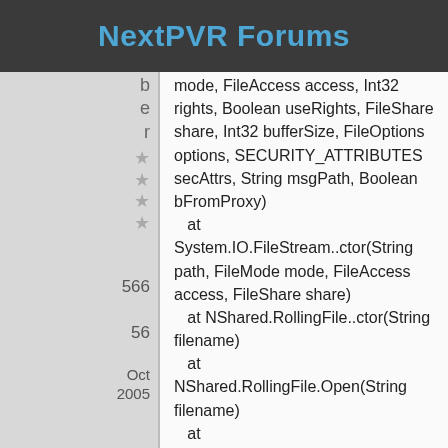NextPVR Forums
mode, FileAccess access, Int32 rights, Boolean useRights, FileShare share, Int32 bufferSize, FileOptions options, SECURITY_ATTRIBUTES secAttrs, String msgPath, Boolean bFromProxy)
   at System.IO.FileStream..ctor(String path, FileMode mode, FileAccess access, FileShare share)
   at NShared.RollingFile..ctor(String filename)
   at NShared.RollingFile.Open(String filename)
   at NextPVR.MVP.MVPServerForm.StreamingThread()
Recording Playback Error is :-
2010-12-26 13:09:27.224 [DEBUG][3] Responded to MVP ping
2010-12-26 13:09:27.224 [DEBUG][3] MVP request processed
2010-12-26 13:09:27.224 [DEBUG][3] MVP waiting